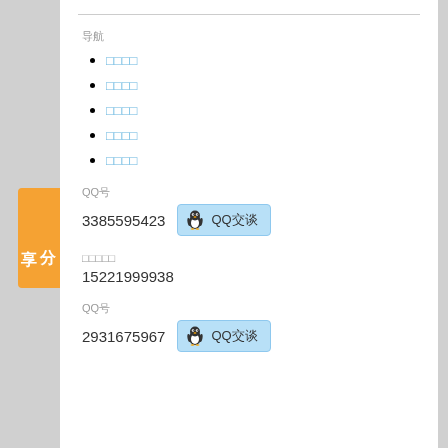导航
□□□□
□□□□
□□□□
□□□□
□□□□
QQ号
3385595423  QQ交谈
手机号码
15221999938
QQ号
2931675967  QQ交谈